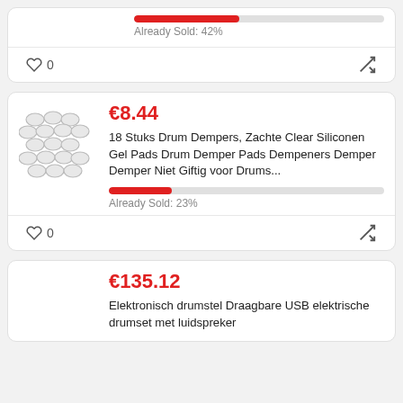[Figure (other): Partial product card top showing a progress bar at 42% sold and footer with like (0) and shuffle icons]
Already Sold: 42%
[Figure (other): Product listing card with drum damper pads image, price €8.44, description, 23% sold progress bar, like and shuffle icons]
€8.44
18 Stuks Drum Dempers, Zachte Clear Siliconen Gel Pads Drum Demper Pads Dempeners Demper Demper Niet Giftig voor Drums...
Already Sold: 23%
[Figure (other): Partial product card bottom showing price €135.12 and description beginning with Elektronisch drumstel Draagbare USB elektrische drumset met luidspreker]
€135.12
Elektronisch drumstel Draagbare USB elektrische drumset met luidspreker